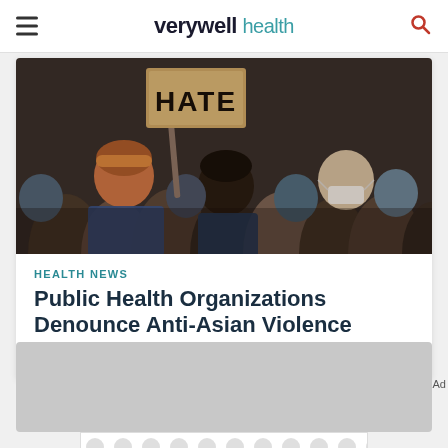verywell health
[Figure (photo): Crowd of people at a protest, one person holding a cardboard sign that reads HATE]
HEALTH NEWS
Public Health Organizations Denounce Anti-Asian Violence
Fact checked by Daniella Amato
[Figure (other): Advertisement placeholder — gray rectangle with Ad label and decorative dot pattern banner below]